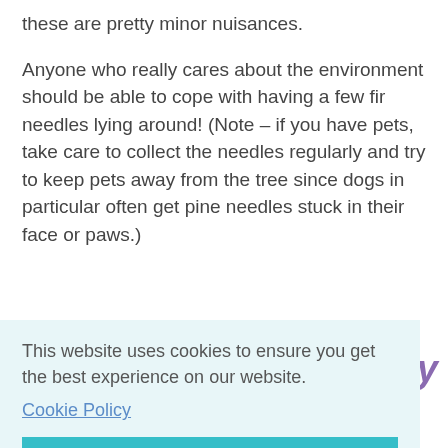these are pretty minor nuisances.
Anyone who really cares about the environment should be able to cope with having a few fir needles lying around! (Note – if you have pets, take care to collect the needles regularly and try to keep pets away from the tree since dogs in particular often get pine needles stuck in their face or paws.)
ly
This website uses cookies to ensure you get the best experience on our website.
Cookie Policy
Got it!
an
ver the Christmas holiday itself, you might want to